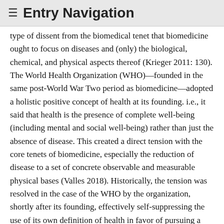≡ Entry Navigation
type of dissent from the biomedical tenet that biomedicine ought to focus on diseases and (only) the biological, chemical, and physical aspects thereof (Krieger 2011: 130). The World Health Organization (WHO)—founded in the same post-World War Two period as biomedicine—adopted a holistic positive concept of health at its founding. i.e., it said that health is the presence of complete well-being (including mental and social well-being) rather than just the absence of disease. This created a direct tension with the core tenets of biomedicine, especially the reduction of disease to a set of concrete observable and measurable physical bases (Valles 2018). Historically, the tension was resolved in the case of the WHO by the organization, shortly after its founding, effectively self-suppressing the use of its own definition of health in favor of pursuing a narrower set of initiatives to combat particular diseases (e.g., the celebrated Smallpox Eradication Program) (Irwin & Scali 2007). This seems to have been in part because cold war politics made it pragmatic to not antagonize the United States